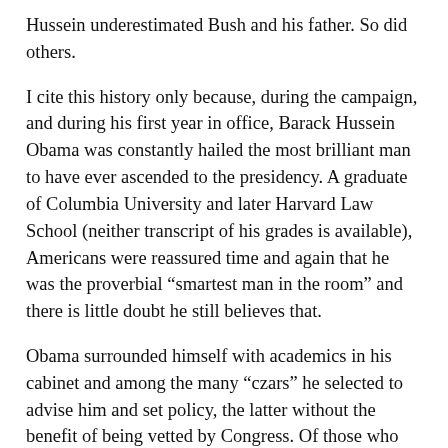Hussein underestimated Bush and his father. So did others.
I cite this history only because, during the campaign, and during his first year in office, Barack Hussein Obama was constantly hailed the most brilliant man to have ever ascended to the presidency. A graduate of Columbia University and later Harvard Law School (neither transcript of his grades is available), Americans were reassured time and again that he was the proverbial “smarter man in the room” and there is little doubt he still believes that.
Obama surrounded himself with academics in his cabinet and among the many “czars” he selected to advise him and set policy, the latter without the benefit of being vetted by Congress. Of those who had experience in the private sector, Wilson’s cabinet constituted 52%; Hoover’s 42%; Roosevelt’s 50%; Reagan’s 56%, George W. Bush, 55%, and Obama? A mere 8%! His initial advisors on the economy have already departed for their respective ivory towers, still baffled by an official unemployment rate of 9.6%.
It became noticeable early on, particularly during press